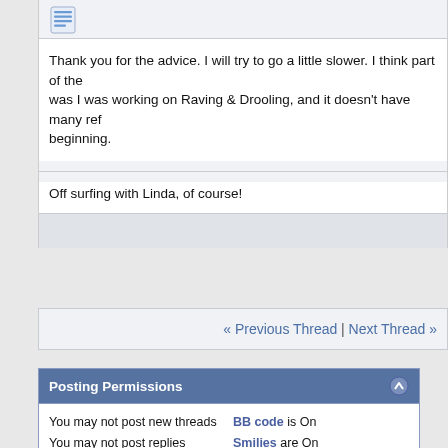[Figure (illustration): Document/post icon (blue lines on white background)]
Thank you for the advice. I will try to go a little slower. I think part of the was I was working on Raving & Drooling, and it doesn't have many ref beginning.
Off surfing with Linda, of course!
« Previous Thread | Next Thread »
Posting Permissions
You may not post new threads
You may not post replies
You may not post attachments
You may not edit your posts
BB code is On
Smilies are On
[IMG] code is On
[VIDEO] code is On
HTML code is Off
Forum Rules